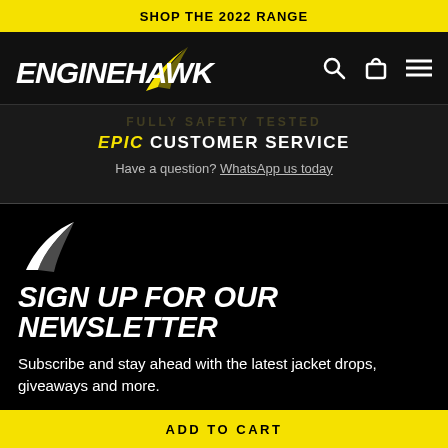SHOP THE 2022 RANGE
[Figure (logo): ENGINEHAWK logo with yellow feather/swoosh mark, white italic bold text on dark background, with search, bag, and menu icons on the right]
EPIC CUSTOMER SERVICE
Have a question? WhatsApp us today
[Figure (logo): Small white feather/swoosh icon]
SIGN UP FOR OUR NEWSLETTER
Subscribe and stay ahead with the latest jacket drops, giveaways and more.
ADD TO CART